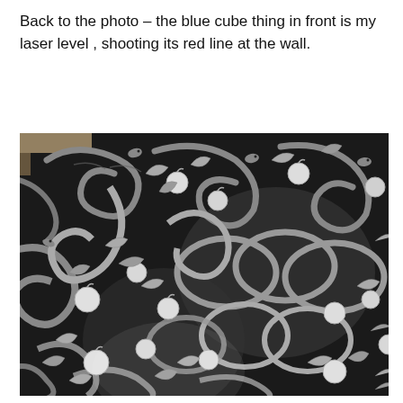Back to the photo – the blue cube thing in front is my laser level , shooting its red line at the wall.
[Figure (photo): A black and white photograph of decorative wallpaper featuring a pattern of intertwined snakes, apple fruits, and leaves on a dark background.]